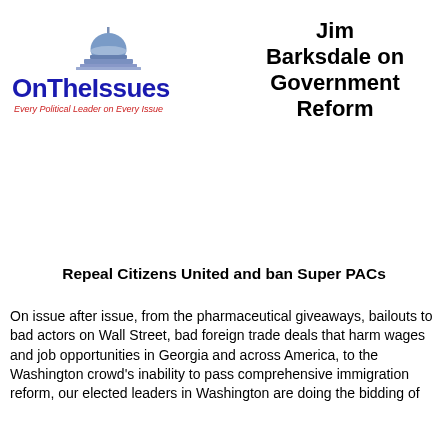[Figure (logo): OnTheIssues logo: blue capitol dome above text 'OnTheIssues' in bold blue with tagline 'Every Political Leader on Every Issue' in red italic]
Jim Barksdale on Government Reform
Repeal Citizens United and ban Super PACs
On issue after issue, from the pharmaceutical giveaways, bailouts to bad actors on Wall Street, bad foreign trade deals that harm wages and job opportunities in Georgia and across America, to the Washington crowd's inability to pass comprehensive immigration reform, our elected leaders in Washington are doing the bidding of